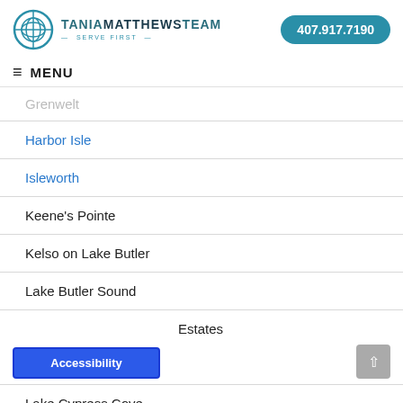TANIA MATTHEWS TEAM — SERVE FIRST — 407.917.7190
≡ MENU
Grenwelt (clipped)
Harbor Isle
Isleworth
Keene's Pointe
Kelso on Lake Butler
Lake Butler Sound
Estates
Lake Cypress Cove